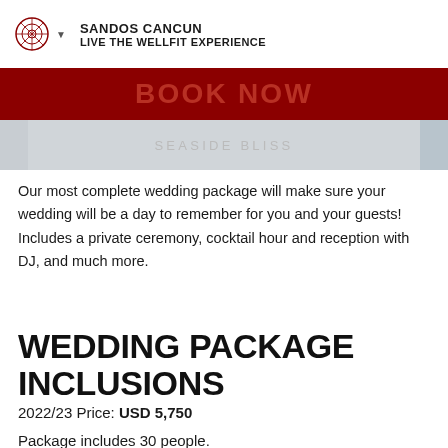SANDOS CANCUN LIVE THE WELLFIT EXPERIENCE
Our most complete wedding package will make sure your wedding will be a day to remember for you and your guests! Includes a private ceremony, cocktail hour and reception with DJ, and much more.
WEDDING PACKAGE INCLUSIONS
2022/23 Price: USD 5,750
Package includes 30 people.